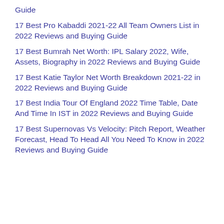Guide
17 Best Pro Kabaddi 2021-22 All Team Owners List in 2022 Reviews and Buying Guide
17 Best Bumrah Net Worth: IPL Salary 2022, Wife, Assets, Biography in 2022 Reviews and Buying Guide
17 Best Katie Taylor Net Worth Breakdown 2021-22 in 2022 Reviews and Buying Guide
17 Best India Tour Of England 2022 Time Table, Date And Time In IST in 2022 Reviews and Buying Guide
17 Best Supernovas Vs Velocity: Pitch Report, Weather Forecast, Head To Head All You Need To Know in 2022 Reviews and Buying Guide